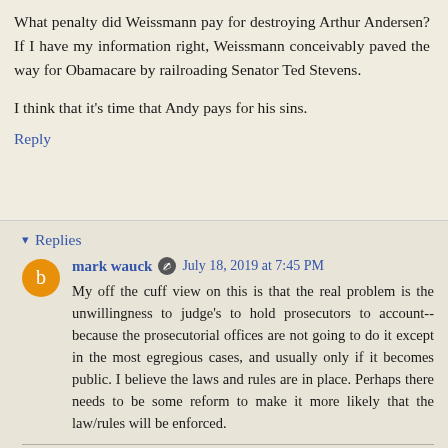What penalty did Weissmann pay for destroying Arthur Andersen? If I have my information right, Weissmann conceivably paved the way for Obamacare by railroading Senator Ted Stevens.
I think that it's time that Andy pays for his sins.
Reply
▾ Replies
mark wauck  July 18, 2019 at 7:45 PM
My off the cuff view on this is that the real problem is the unwillingness to judge's to hold prosecutors to account--because the prosecutorial offices are not going to do it except in the most egregious cases, and usually only if it becomes public. I believe the laws and rules are in place. Perhaps there needs to be some reform to make it more likely that the law/rules will be enforced.
Reply